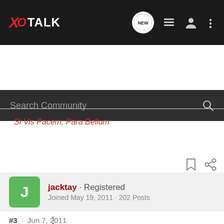XO TALK
Search Community
Si Vis Pacem, Para Bellum
jacktay · Registered
Joined May 19, 2011 · 202 Posts
#3 · Jun 7, 2011
Nice shooting. Sounds like a fun time was had.